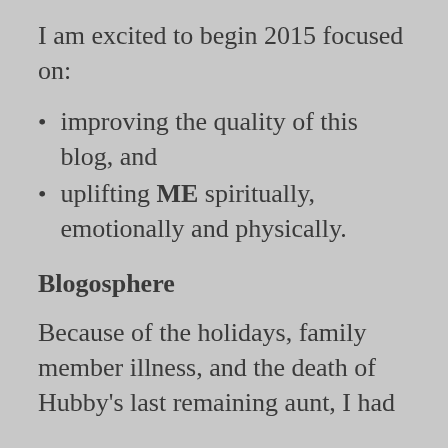I am excited to begin 2015 focused on:
improving the quality of this blog, and
uplifting ME spiritually, emotionally and physically.
Blogosphere
Because of the holidays, family member illness, and the death of Hubby's last remaining aunt, I had